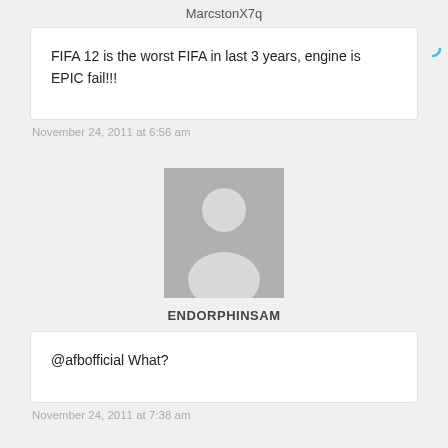MarcstonX7q
FIFA 12 is the worst FIFA in last 3 years, engine is EPIC fail!!!
November 24, 2011 at 6:56 am
[Figure (illustration): Generic user avatar placeholder — grey square with white silhouette of a person (circle head, ellipse body)]
ENDORPHINSAM
@afbofficial What?
November 24, 2011 at 7:38 am
[Figure (illustration): Generic user avatar placeholder — grey square with white silhouette, partially visible at bottom of page]